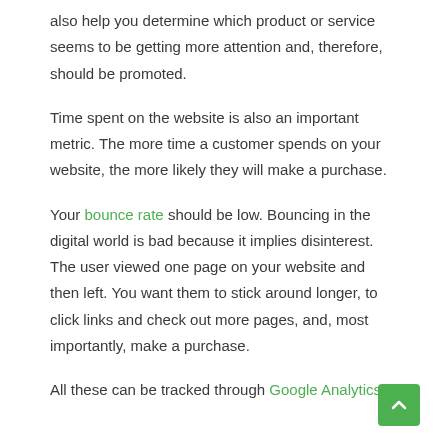also help you determine which product or service seems to be getting more attention and, therefore, should be promoted.
Time spent on the website is also an important metric. The more time a customer spends on your website, the more likely they will make a purchase.
Your bounce rate should be low. Bouncing in the digital world is bad because it implies disinterest. The user viewed one page on your website and then left. You want them to stick around longer, to click links and check out more pages, and, most importantly, make a purchase.
All these can be tracked through Google Analytics.